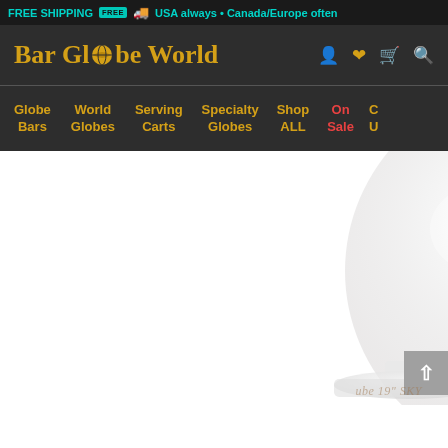FREE SHIPPING 🚚 USA always • Canada/Europe often
Bar Globe World
Globe Bars | World Globes | Serving Carts | Specialty Globes | Shop ALL | On Sale | C U
[Figure (photo): A clear/white frosted glass globe bar product shown from the side on a transparent acrylic stand, with faint watermark text at bottom right reading 'ube 19" SKY']